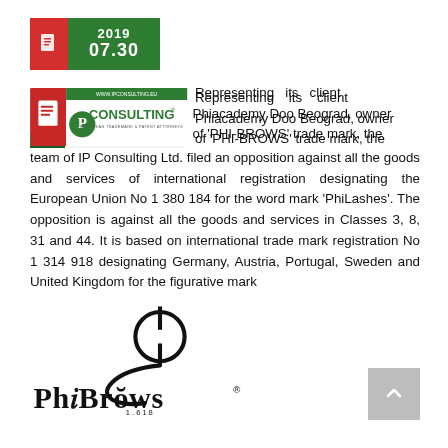2019 07.30
[Figure (logo): IP Consulting European Trademark & Patent Attorneys logo with green and red design]
Representing its client Phiacademy Doo Beograd, owner of 'PHI-BROWS' trade mark, the team of IP Consulting Ltd. filed an opposition against all the goods and services of international registration designating the European Union No 1 380 184 for the word mark 'PhiLashes'. The opposition is against all the goods and services in Classes 3, 8, 31 and 44. It is based on international trade mark registration No 1 314 918 designating Germany, Austria, Portugal, Sweden and United Kingdom for the figurative mark
[Figure (logo): PhiBrows 1.618 figurative trademark logo with phi symbol]